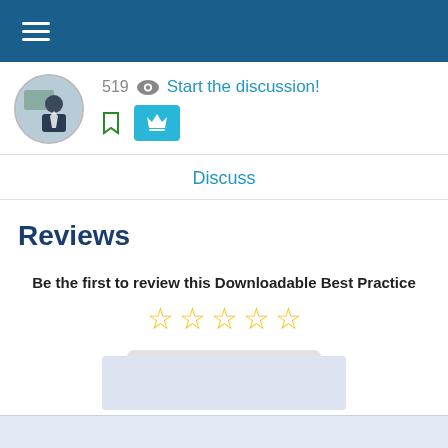Navigation menu header bar
519 views  Start the discussion!
Discuss
Reviews
Be the first to review this Downloadable Best Practice
WRITE A REVIEW